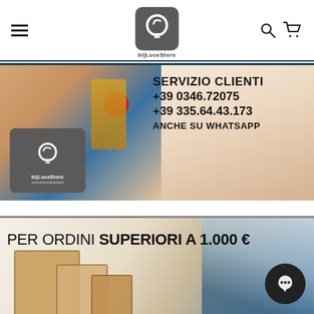[Figure (screenshot): Website navigation bar with hamburger menu on left, bl|LuceStore logo in center, search and cart icons on right]
[Figure (photo): Promotional banner showing hands with tape gun and a customer service representative. Text: SERVIZIO CLIENTI +39 0346.72075 +39 335.64.43.173 ANCHE SU WHATSAPP with bl|LuceStore logo]
[Figure (photo): Promotional banner showing cardboard boxes with text: PER ORDINI SUPERIORI A 1.000 €]